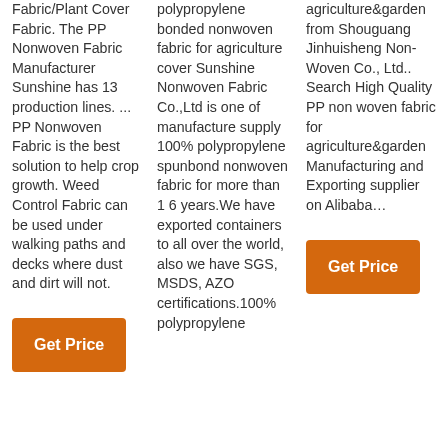Fabric/Plant Cover Fabric. The PP Nonwoven Fabric Manufacturer Sunshine has 13 production lines. ... PP Nonwoven Fabric is the best solution to help crop growth. Weed Control Fabric can be used under walking paths and decks where dust and dirt will not.
Get Price
polypropylene bonded nonwoven fabric for agriculture cover Sunshine Nonwoven Fabric Co.,Ltd is one of manufacture supply 100% polypropylene spunbond nonwoven fabric for more than 1 6 years.We have exported containers to all over the world, also we have SGS, MSDS, AZO certifications.100% polypropylene
agriculture&garden from Shouguang Jinhuisheng Non-Woven Co., Ltd.. Search High Quality PP non woven fabric for agriculture&garden Manufacturing and Exporting supplier on Alibaba…
Get Price